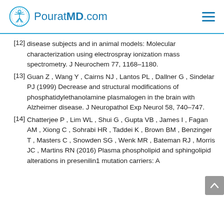PouratMD.com
[12] disease subjects and in animal models: Molecular characterization using electrospray ionization mass spectrometry. J Neurochem 77, 1168–1180.
[13] Guan Z , Wang Y , Cairns NJ , Lantos PL , Dallner G , Sindelar PJ (1999) Decrease and structural modifications of phosphatidylethanolamine plasmalogen in the brain with Alzheimer disease. J Neuropathol Exp Neurol 58, 740–747.
[14] Chatterjee P , Lim WL , Shui G , Gupta VB , James I , Fagan AM , Xiong C , Sohrabi HR , Taddei K , Brown BM , Benzinger T , Masters C , Snowden SG , Wenk MR , Bateman RJ , Morris JC , Martins RN (2016) Plasma phospholipid and sphingolipid alterations in presenilin1 mutation carriers: A